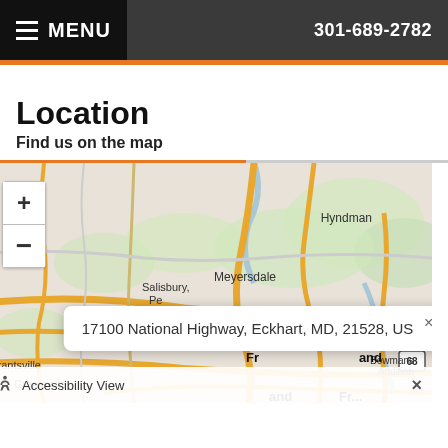MENU  301-689-2782
Location
Find us on the map
[Figure (map): Interactive street map showing area around Eckhart, MD with towns Meyersdale, Hyndman, Salisbury, Grantsville, Bowmans Addition visible. Popup shows address: 17100 National Highway, Eckhart, MD, 21528, US. Map has zoom controls (+/-) and location marker. Accessibility View bar at bottom.]